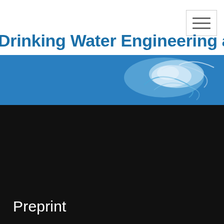Drinking Water Engineering and Science
[Figure (photo): Blue banner with water ripple/swirl illustration on the right side, set against a solid blue background]
Preprint